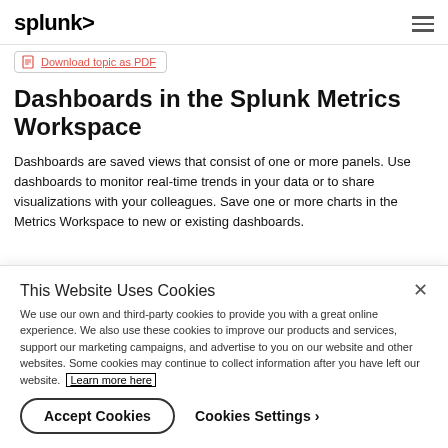splunk> [hamburger menu]
Download topic as PDF
Dashboards in the Splunk Metrics Workspace
Dashboards are saved views that consist of one or more panels. Use dashboards to monitor real-time trends in your data or to share visualizations with your colleagues. Save one or more charts in the Metrics Workspace to new or existing dashboards.
This Website Uses Cookies
We use our own and third-party cookies to provide you with a great online experience. We also use these cookies to improve our products and services, support our marketing campaigns, and advertise to you on our website and other websites. Some cookies may continue to collect information after you have left our website. Learn more here
Accept Cookies
Cookies Settings ›